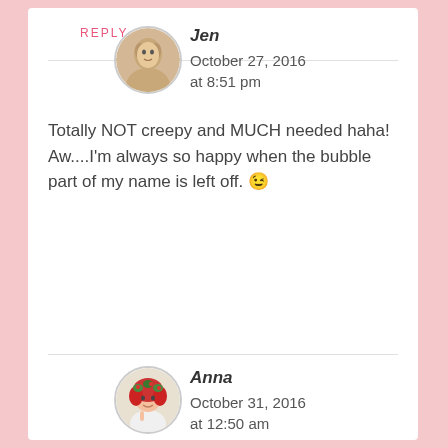REPLY
Jen
October 27, 2016 at 8:51 pm
Totally NOT creepy and MUCH needed haha! Aw....I'm always so happy when the bubble part of my name is left off. 😉
Anna
October 31, 2016 at 12:50 am